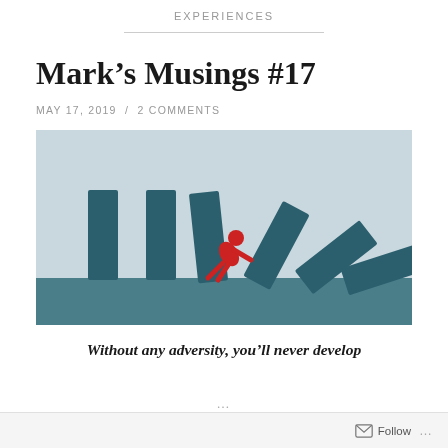EXPERIENCES
Mark's Musings #17
MAY 17, 2019 / 2 COMMENTS
[Figure (illustration): Illustration of a red-suited person pushing against a row of falling dark teal domino tiles on a teal-toned floor, with a light gray-blue background.]
Without any adversity, you'll never develop …
Follow